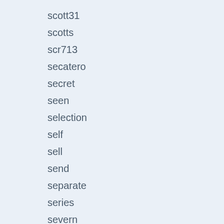scott31
scotts
scr713
secatero
secret
seen
selection
self
sell
send
separate
series
severn
sg265
shadowless